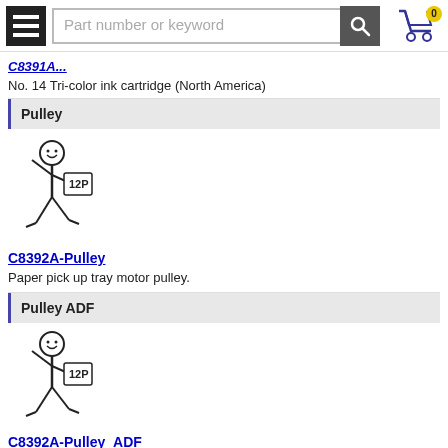Part number or keyword [search bar]
C8391A (partial link)
No. 14 Tri-color ink cartridge (North America)
Pulley
[Figure (illustration): Stick figure mascot carrying a part (12P tag)]
C8392A-Pulley
Paper pick up tray motor pulley.
Pulley ADF
[Figure (illustration): Stick figure mascot carrying a part (12P tag)]
C8392A-Pulley_ADF
ADF feeder motor pulley
Recovery Kit
[Figure (illustration): Stick figure mascot carrying a part (12P tag)]
F102-5969 (partial)